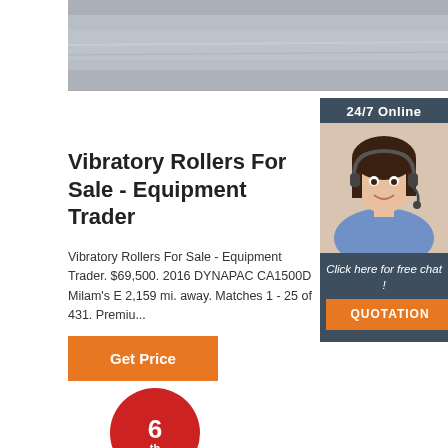[Figure (photo): Top banner image showing a grey blurred surface, partially visible]
[Figure (infographic): 24/7 Online chat widget with woman wearing headset, 'Click here for free chat!' text, and QUOTATION button in orange]
Vibratory Rollers For Sale - Equipment Trader
Vibratory Rollers For Sale - Equipment Trader. $69,500. 2016 DYNAPAC CA1500D Milam's E 2,159 mi. away. Matches 1 - 25 of 431. Premiu...
[Figure (infographic): Orange 'Get Price' button]
[Figure (infographic): Red circle with '6th' text, partially visible at bottom of page]